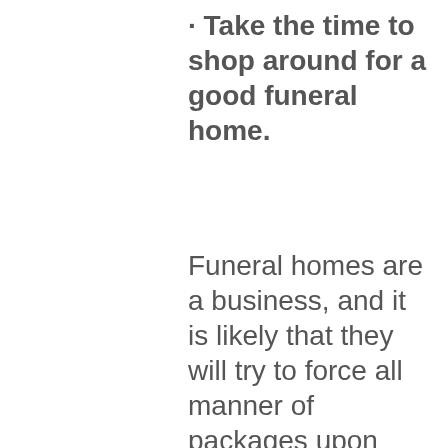· Take the time to shop around for a good funeral home.
Funeral homes are a business, and it is likely that they will try to force all manner of packages upon you during the